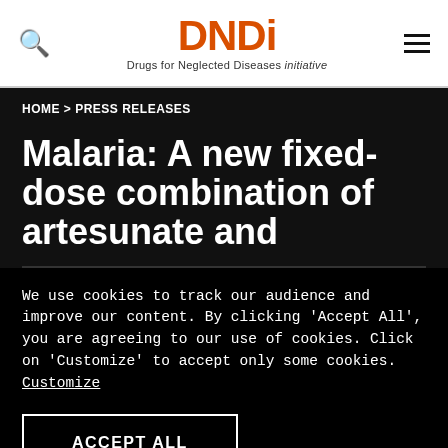[Figure (logo): DNDi logo - Drugs for Neglected Diseases initiative with search icon and hamburger menu]
HOME > PRESS RELEASES
Malaria: A new fixed-dose combination of artesunate and
We use cookies to track our audience and improve our content. By clicking 'Accept All', you are agreeing to our use of cookies. Click on 'Customize' to accept only some cookies. Customize
ACCEPT ALL